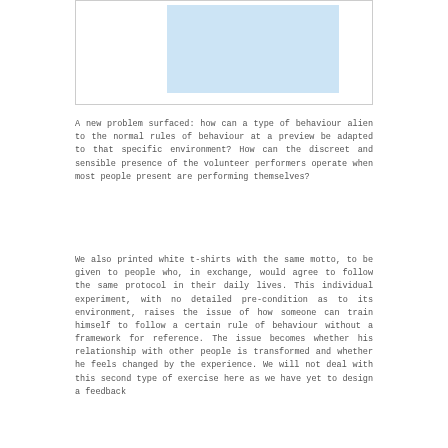[Figure (illustration): A light blue rectangle placeholder image inside a bordered box]
A new problem surfaced: how can a type of behaviour alien to the normal rules of behaviour at a preview be adapted to that specific environment? How can the discreet and sensible presence of the volunteer performers operate when most people present are performing themselves?
We also printed white t-shirts with the same motto, to be given to people who, in exchange, would agree to follow the same protocol in their daily lives. This individual experiment, with no detailed pre-condition as to its environment, raises the issue of how someone can train himself to follow a certain rule of behaviour without a framework for reference. The issue becomes whether his relationship with other people is transformed and whether he feels changed by the experience. We will not deal with this second type of exercise here as we have yet to design a feedback